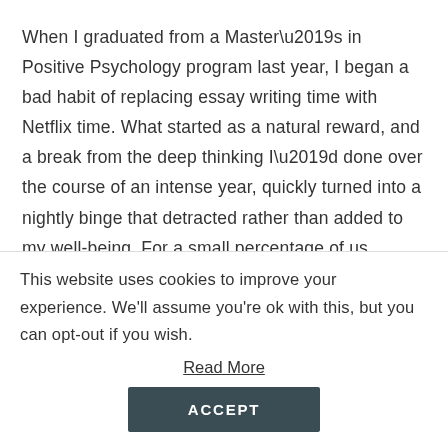When I graduated from a Master’s in Positive Psychology program last year, I began a bad habit of replacing essay writing time with Netflix time. What started as a natural reward, and a break from the deep thinking I’d done over the course of an intense year, quickly turned into a nightly binge that detracted rather than added to my well-being. For a small percentage of us, willpower alone may be enough to change a habit. For the rest of us, intentional environmental changes, called nudges, can serve us to shift our behavior.
This website uses cookies to improve your experience. We'll assume you’re ok with this, but you can opt-out if you wish.
Read More
ACCEPT